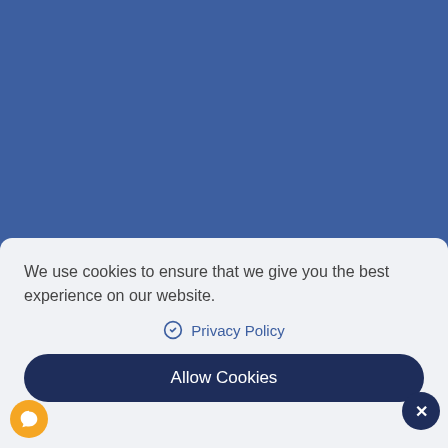Venessa Kho, Singapore
[Figure (other): Five orange star rating icons]
They will certainly not let you down
We use cookies to ensure that we give you the best experience on our website.
Privacy Policy
Allow Cookies